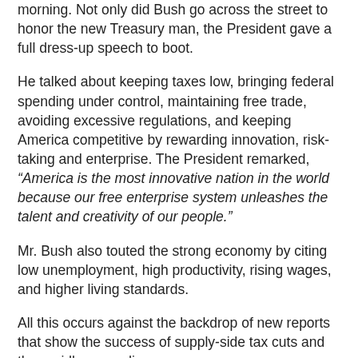morning. Not only did Bush go across the street to honor the new Treasury man, the President gave a full dress-up speech to boot.
He talked about keeping taxes low, bringing federal spending under control, maintaining free trade, avoiding excessive regulations, and keeping America competitive by rewarding innovation, risk-taking and enterprise. The President remarked, “America is the most innovative nation in the world because our free enterprise system unleashes the talent and creativity of our people.”
Mr. Bush also touted the strong economy by citing low unemployment, high productivity, rising wages, and higher living standards.
All this occurs against the backdrop of new reports that show the success of supply-side tax cuts and the rapidly expanding economy.
Lower tax rates on investment, working through the expanded economic pie, are bringing tax receipts about